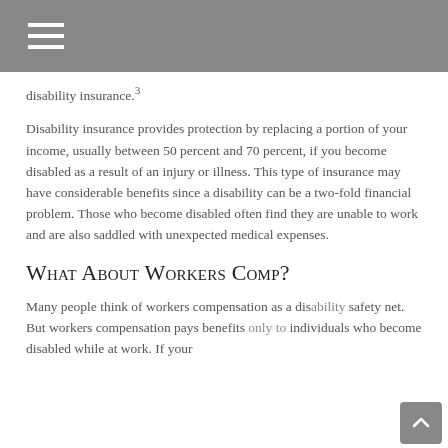disability insurance.3
Disability insurance provides protection by replacing a portion of your income, usually between 50 percent and 70 percent, if you become disabled as a result of an injury or illness. This type of insurance may have considerable benefits since a disability can be a two-fold financial problem. Those who become disabled often find they are unable to work and are also saddled with unexpected medical expenses.
What About Workers Comp?
Many people think of workers compensation as a disability safety net. But workers compensation pays benefits only to individuals who become disabled while at work. If your